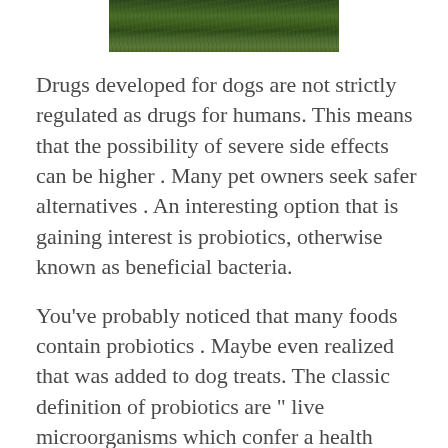[Figure (photo): Partial photo of a dog in tall grass, cropped at top of page]
Drugs developed for dogs are not strictly regulated as drugs for humans. This means that the possibility of severe side effects can be higher . Many pet owners seek safer alternatives . An interesting option that is gaining interest is probiotics, otherwise known as beneficial bacteria.
You've probably noticed that many foods contain probiotics . Maybe even realized that was added to dog treats. The classic definition of probiotics are " live microorganisms which confer a health